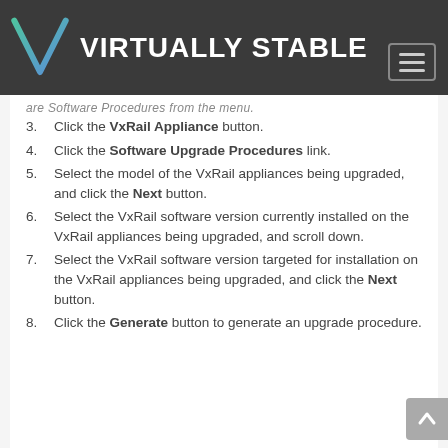VIRTUALLY STABLE
3. Click the VxRail Appliance button.
4. Click the Software Upgrade Procedures link.
5. Select the model of the VxRail appliances being upgraded, and click the Next button.
6. Select the VxRail software version currently installed on the VxRail appliances being upgraded, and scroll down.
7. Select the VxRail software version targeted for installation on the VxRail appliances being upgraded, and click the Next button.
8. Click the Generate button to generate an upgrade procedure.